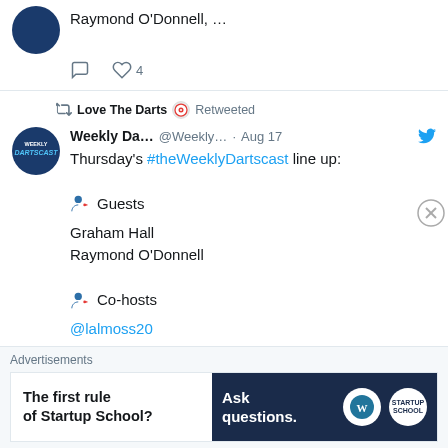[Figure (screenshot): Top portion of a tweet card showing action icons (comment, heart with count 4) and a partially visible tweet content with 'Raymond O'Donnell, ...' text]
Love The Darts 🎯 Retweeted
Weekly Da... @Weekly... · Aug 17
Thursday's #theWeeklyDartscast line up:

👤 Guests
Graham Hall
Raymond O'Donnell

👤 Co-hosts
@lalmoss20
Burton DeWitt

& you!
Advertisements
[Figure (screenshot): Advertisement banner: left side white with bold text 'The first rule of Startup School?', right side dark navy with 'Ask questions.' text and WordPress and another logo]